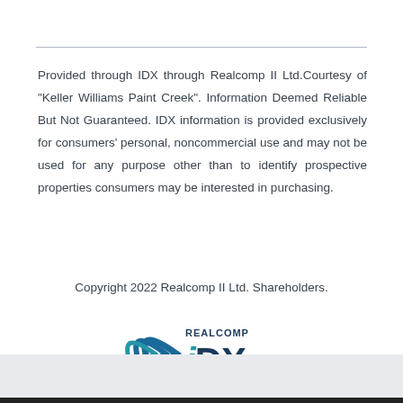Provided through IDX through Realcomp II Ltd.Courtesy of "Keller Williams Paint Creek". Information Deemed Reliable But Not Guaranteed. IDX information is provided exclusively for consumers' personal, noncommercial use and may not be used for any purpose other than to identify prospective properties consumers may be interested in purchasing.
Copyright 2022 Realcomp II Ltd. Shareholders.
[Figure (logo): Realcomp IDX logo — stylized parenthesis/wave shape in dark blue and teal on left, text 'REALCOMP' in small caps above 'IDX' in large bold dark blue letters on right]